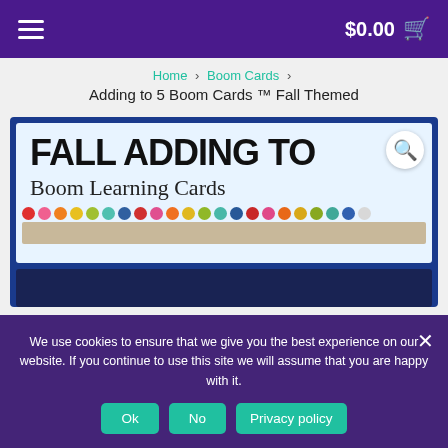$0.00 🛒
Home › Boom Cards › Adding to 5 Boom Cards ™ Fall Themed
Adding to 5 Boom Cards ™ Fall Themed
[Figure (screenshot): Product thumbnail showing 'FALL ADDING TO 5 Boom Learning Cards' with colorful dots and a magnifier icon]
We use cookies to ensure that we give you the best experience on our website. If you continue to use this site we will assume that you are happy with it.
Ok   No   Privacy policy